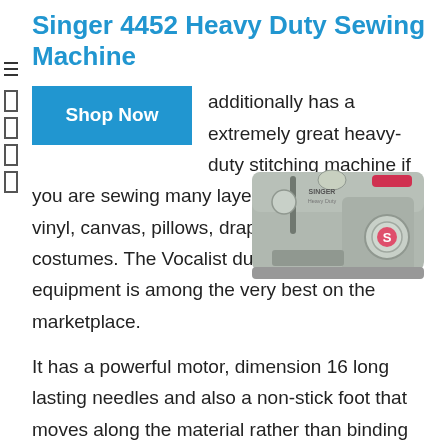Singer 4452 Heavy Duty Sewing Machine
[Figure (photo): Blue 'Shop Now' button]
[Figure (photo): Singer 4452 Heavy Duty Sewing Machine product photo, grey colored machine with red accent]
additionally has a extremely great heavy-duty stitching machine if you are sewing many layers of fabric, denim, vinyl, canvas, pillows, draperies or developing costumes. The Vocalist durable 4452 sewing equipment is among the very best on the marketplace.
It has a powerful motor, dimension 16 long lasting needles and also a non-stick foot that moves along the material rather than binding